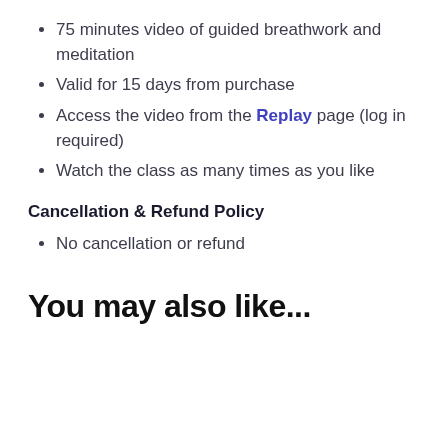75 minutes video of guided breathwork and meditation
Valid for 15 days from purchase
Access the video from the Replay page (log in required)
Watch the class as many times as you like
Cancellation & Refund Policy
No cancellation or refund
You may also like...